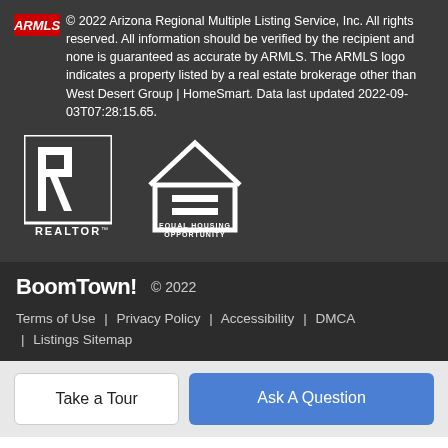© 2022 Arizona Regional Multiple Listing Service, Inc. All rights reserved. All information should be verified by the recipient and none is guaranteed as accurate by ARMLS. The ARMLS logo indicates a property listed by a real estate brokerage other than West Desert Group | HomeSmart. Data last updated 2022-09-03T07:28:15.65.
[Figure (logo): ARMLS logo (red text ARMLS)]
[Figure (logo): Realtor logo - R in a box with REALTOR text below]
[Figure (logo): Equal Housing Opportunity logo - house with equal sign]
BoomTown! © 2022
Terms of Use | Privacy Policy | Accessibility | DMCA | Listings Sitemap
Take a Tour
Ask A Question